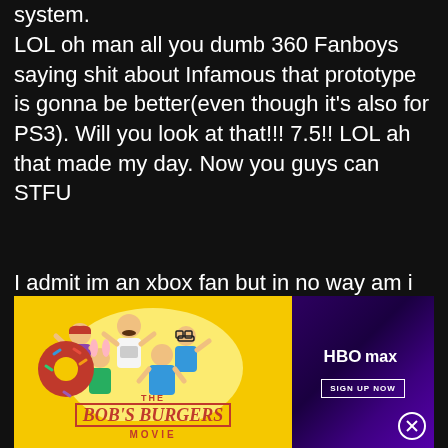system.
LOL oh man all you dumb 360 Fanboys saying shit about Infamous that prototype is gonna be better(even though it's also for PS3). Will you look at that!!! 7.5!! LOL ah that made my day. Now you guys can STFU
I admit im an xbox fan but in no way am i biased in saying this. PS3 fans get the hell o[ut]
[Figure (advertisement): Bob's Burgers Movie advertisement on yellow background with animated family characters and title text]
[Figure (advertisement): HBO Max advertisement on purple gradient background with HBO Max logo and Sign Up Now button]